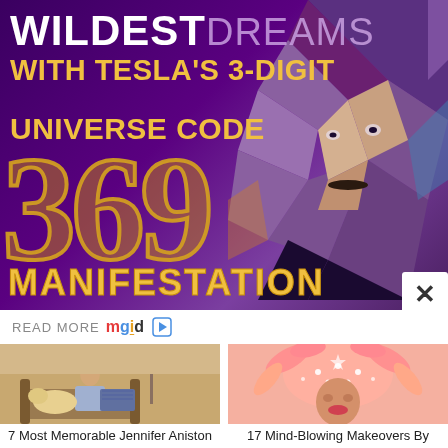[Figure (illustration): Advertisement banner with dark purple background showing Tesla portrait illustration and large text: WILDEST DREAMS WITH TESLA'S 3-DIGIT UNIVERSE CODE, large golden numbers 369, and MANIFESTATION text at bottom. Includes a close (X) button at bottom right.]
READ MORE mgid ▷
[Figure (photo): Woman sitting on couch with a yellow Labrador dog, in a living room setting. Still from a movie or TV show.]
7 Most Memorable Jennifer Aniston Roles After Friends
[Figure (photo): Person wearing an elaborate pink feathered and floral headdress with rhinestone decorations, makeup artist creation.]
17 Mind-Blowing Makeovers By Makeup Artist Vanessa Davis